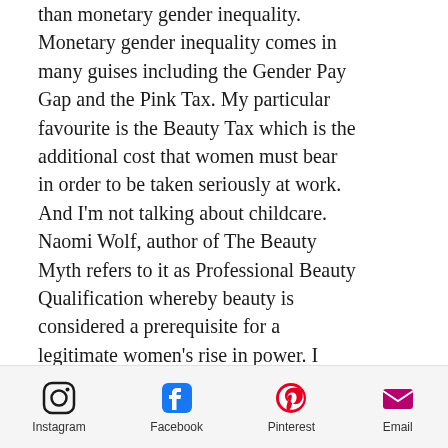than monetary gender inequality. Monetary gender inequality comes in many guises including the Gender Pay Gap and the Pink Tax. My particular favourite is the Beauty Tax which is the additional cost that women must bear in order to be taken seriously at work. And I'm not talking about childcare. Naomi Wolf, author of The Beauty Myth refers to it as Professional Beauty Qualification whereby beauty is considered a prerequisite for a legitimate women's rise in power. I think of it as the extra time and dollars we are expected to spend on grooming in order to be considered credible in any given career.
Instagram | Facebook | Pinterest | Email